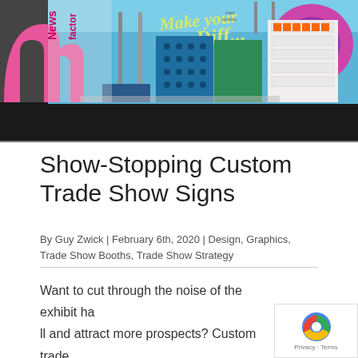[Figure (photo): Trade show booth with colorful displays, pink arch structures, blue backdrop with cursive text 'Make your own difference', green and blue cube displays, white shelving unit with products, dark floor.]
Show-Stopping Custom Trade Show Signs
By Guy Zwick | February 6th, 2020 | Design, Graphics, Trade Show Booths, Trade Show Strategy
Want to cut through the noise of the exhibit hall and attract more prospects? Custom trade show signs might be your new best friend.